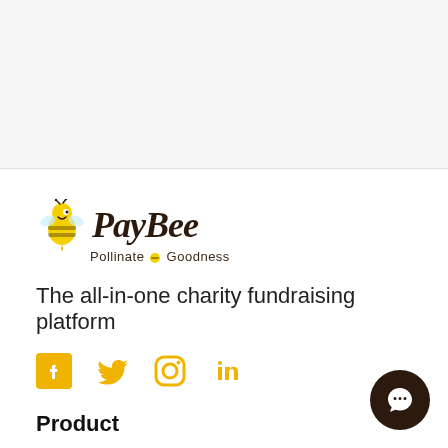[Figure (logo): PayBee logo with bee illustration and tagline 'Pollinate Goodness']
The all-in-one charity fundraising platform
[Figure (infographic): Social media icons: Facebook, Twitter, Instagram, LinkedIn in yellow/amber color]
Product